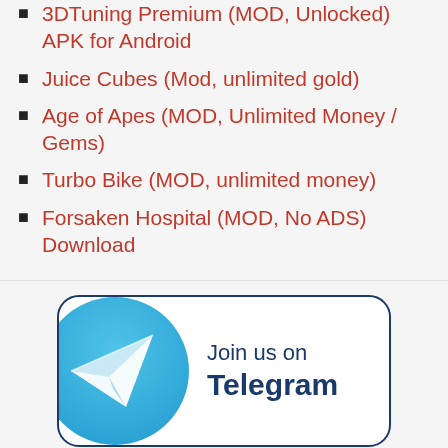3DTuning Premium (MOD, Unlocked) APK for Android
Juice Cubes (Mod, unlimited gold)
Age of Apes (MOD, Unlimited Money / Gems)
Turbo Bike (MOD, unlimited money)
Forsaken Hospital (MOD, No ADS) Download
[Figure (infographic): Join us on Telegram banner with Telegram logo circle and text]
Proudly powered by WordPress
RedWaves theme by Themient